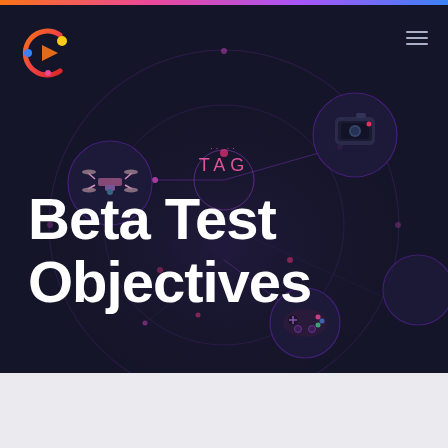[Figure (screenshot): Website hero section with dark navy background, colorful logo top-left, hamburger menu top-right, decorative circular ring diagram with tech device icons (drone, camera, gamepad), pink TAG label in center, and large white bold 'Beta Test Objectives' heading.]
Beta Test Objectives